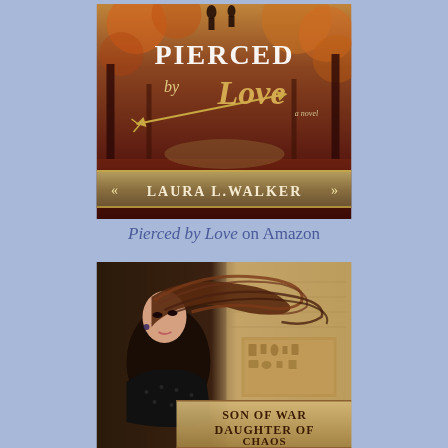[Figure (illustration): Book cover for 'Pierced by Love' by Laura L. Walker — a novel. Dark reddish-brown background with autumn forest scene, decorative arrow motif, ornate gold title text.]
Pierced by Love on Amazon
[Figure (illustration): Book cover for 'Son of War Daughter of Chaos' — shows a young woman with windswept dark hair against an Egyptian-themed sandy background with hieroglyphic-style decorations.]